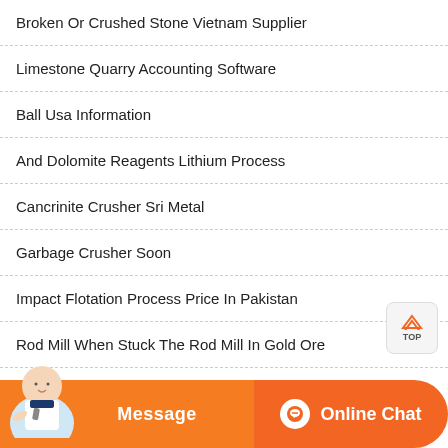Broken Or Crushed Stone Vietnam Supplier
Limestone Quarry Accounting Software
Ball Usa Information
And Dolomite Reagents Lithium Process
Cancrinite Crusher Sri Metal
Garbage Crusher Soon
Impact Flotation Process Price In Pakistan
Rod Mill When Stuck The Rod Mill In Gold Ore
Gold Ore Ball Mill Pods
Screen Shaking Solution